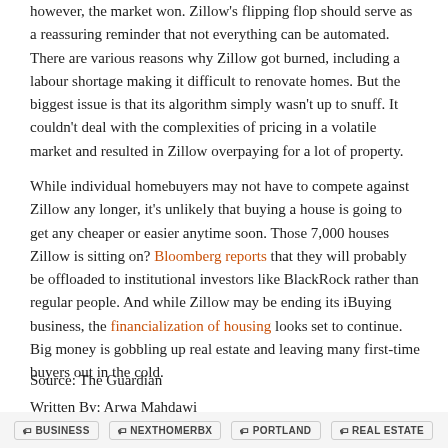however, the market won. Zillow's flipping flop should serve as a reassuring reminder that not everything can be automated. There are various reasons why Zillow got burned, including a labour shortage making it difficult to renovate homes. But the biggest issue is that its algorithm simply wasn't up to snuff. It couldn't deal with the complexities of pricing in a volatile market and resulted in Zillow overpaying for a lot of property.
While individual homebuyers may not have to compete against Zillow any longer, it's unlikely that buying a house is going to get any cheaper or easier anytime soon. Those 7,000 houses Zillow is sitting on? Bloomberg reports that they will probably be offloaded to institutional investors like BlackRock rather than regular people. And while Zillow may be ending its iBuying business, the financialization of housing looks set to continue. Big money is gobbling up real estate and leaving many first-time buyers out in the cold.
Source: The Guardian
Written By: Arwa Mahdawi
Date Posted: November 4, 2021
BUSINESS
NEXTHOMERBX
PORTLAND
REAL ESTATE